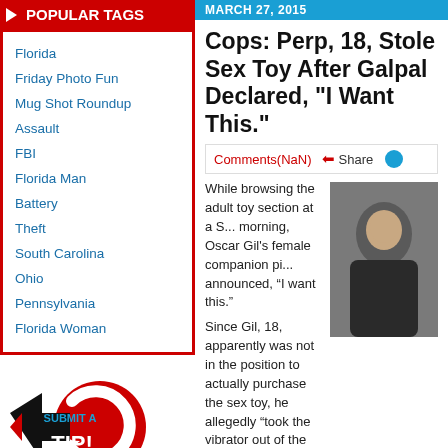POPULAR TAGS
Florida
Friday Photo Fun
Mug Shot Roundup
Assault
FBI
Florida Man
Battery
Theft
South Carolina
Ohio
Pennsylvania
Florida Woman
[Figure (infographic): Submit a Tip graphic with red arrow and black chevron]
MARCH 27, 2015
Cops: Perp, 18, Stole Sex Toy After Galpal Declared, "I Want This."
Comments(NaN)   Share
While browsing the adult toy section at a S... morning, Oscar Gil's female companion pi... announced, “I want this.”

Since Gil, 18, apparently was not in the position to actually purchase the sex toy, he allegedly “took the vibrator out of the package and concealed it in his right pocket,” according to an Indian River County Sheriff’s